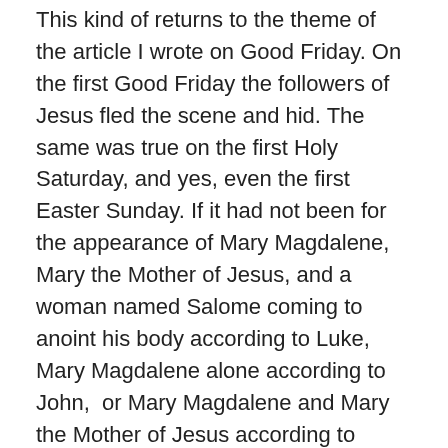This kind of returns to the theme of the article I wrote on Good Friday. On the first Good Friday the followers of Jesus fled the scene and hid. The same was true on the first Holy Saturday, and yes, even the first Easter Sunday. If it had not been for the appearance of Mary Magdalene, Mary the Mother of Jesus, and a woman named Salome coming to anoint his body according to Luke, Mary Magdalene alone according to John,  or Mary Magdalene and Mary the Mother of Jesus according to Matthew and Mark just to visit the tomb we can remain assured that the male followers would have remained in their spider holes until they were sure that it was safe to come out. Regardless of the account it was one or all of these women who found Peter and John, who ran to the tomb to find it empty. Then they returned to discuss the matter with whoever of the disciples they could find, except Judas Iscariot who was simply hanging around and rotting, but I